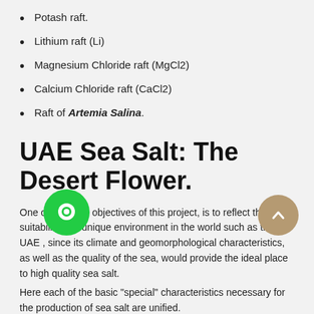Potash raft.
Lithium raft (Li)
Magnesium Chloride raft (MgCl2)
Calcium Chloride raft (CaCl2)
Raft of Artemia Salina.
UAE Sea Salt: The Desert Flower.
One of the main objectives of this project, is to reflect the suitability of a unique environment in the world such as the UAE , since its climate and geomorphological characteristics, as well as the quality of the sea, would provide the ideal place to high quality sea salt.
Here each of the basic "special" characteristics necessary for the production of sea salt are unified.